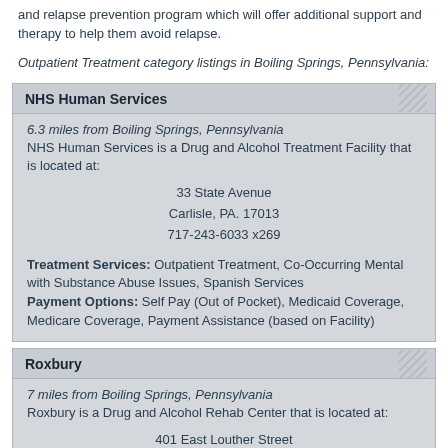and relapse prevention program which will offer additional support and therapy to help them avoid relapse.
Outpatient Treatment category listings in Boiling Springs, Pennsylvania:
NHS Human Services
6.3 miles from Boiling Springs, Pennsylvania
NHS Human Services is a Drug and Alcohol Treatment Facility that is located at:

33 State Avenue
Carlisle, PA. 17013
717-243-6033 x269

Treatment Services: Outpatient Treatment, Co-Occurring Mental with Substance Abuse Issues, Spanish Services
Payment Options: Self Pay (Out of Pocket), Medicaid Coverage, Medicare Coverage, Payment Assistance (based on Facility)
Roxbury
7 miles from Boiling Springs, Pennsylvania
Roxbury is a Drug and Alcohol Rehab Center that is located at:

401 East Louther Street
Carlisle, PA. 17013
717-249-5010